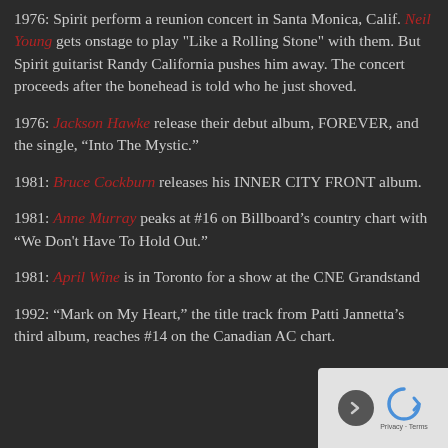1976: Spirit perform a reunion concert in Santa Monica, Calif. Neil Young gets onstage to play "Like a Rolling Stone" with them. But Spirit guitarist Randy California pushes him away. The concert proceeds after the bonehead is told who he just shoved.
1976: Jackson Hawke release their debut album, FOREVER, and the single, “Into The Mystic.”
1981: Bruce Cockburn releases his INNER CITY FRONT album.
1981: Anne Murray peaks at #16 on Billboard’s country chart with “We Don’t Have To Hold Out.”
1981: April Wine is in Toronto for a show at the CNE Grandstand
1992: “Mark on My Heart,” the title track from Patti Jannetta’s third album, reaches #14 on the Canadian AC chart.